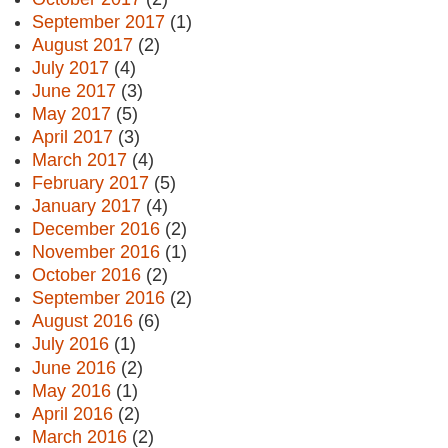October 2017 (2)
September 2017 (1)
August 2017 (2)
July 2017 (4)
June 2017 (3)
May 2017 (5)
April 2017 (3)
March 2017 (4)
February 2017 (5)
January 2017 (4)
December 2016 (2)
November 2016 (1)
October 2016 (2)
September 2016 (2)
August 2016 (6)
July 2016 (1)
June 2016 (2)
May 2016 (1)
April 2016 (2)
March 2016 (2)
February 2016 (1)
January 2016 (2)
December 2015 (1)